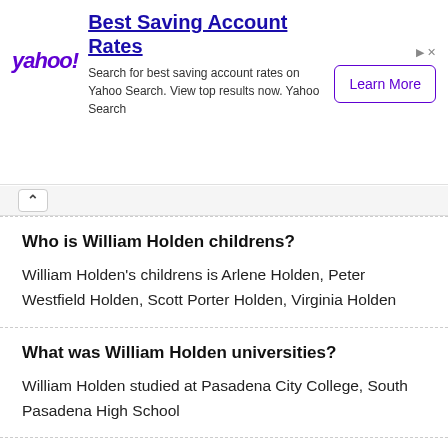[Figure (screenshot): Yahoo advertisement banner for Best Saving Account Rates with Yahoo logo, Learn More button, and close controls]
Who is William Holden childrens?
William Holden's childrens is Arlene Holden, Peter Westfield Holden, Scott Porter Holden, Virginia Holden
What was William Holden universities?
William Holden studied at Pasadena City College, South Pasadena High School
What is William Holden's cause of dead?